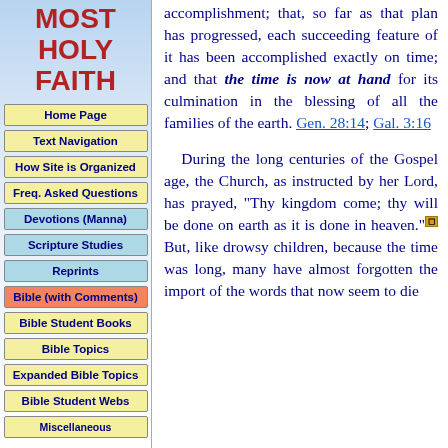MOST HOLY FAITH
Home Page
Text Navigation
How Site is Organized
Freq. Asked Questions
Devotions (Manna)
Scripture Studies
Reprints
Bible (with Comments)
Bible Student Books
Bible Topics
Expanded Bible Topics
Bible Student Webs
Miscellaneous
accomplishment; that, so far as that plan has progressed, each succeeding feature of it has been accomplished exactly on time; and that the time is now at hand for its culmination in the blessing of all the families of the earth. Gen. 28:14; Gal. 3:16

During the long centuries of the Gospel age, the Church, as instructed by her Lord, has prayed, "Thy kingdom come; thy will be done on earth as it is done in heaven." But, like drowsy children, because the time was long, many have almost forgotten the import of the words that now seem to die